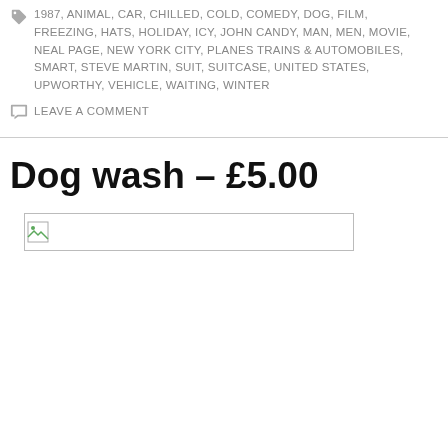UNCATEGORIZED
1987, ANIMAL, CAR, CHILLED, COLD, COMEDY, DOG, FILM, FREEZING, HATS, HOLIDAY, ICY, JOHN CANDY, MAN, MEN, MOVIE, NEAL PAGE, NEW YORK CITY, PLANES TRAINS & AUTOMOBILES, SMART, STEVE MARTIN, SUIT, SUITCASE, UNITED STATES, UPWORTHY, VEHICLE, WAITING, WINTER
LEAVE A COMMENT
Dog wash – £5.00
[Figure (photo): Broken image placeholder — a small image icon on the left, with a wide empty white area extending to the right, all inside a thin grey border rectangle.]